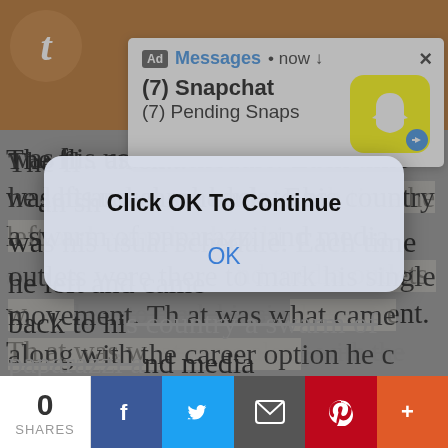[Figure (screenshot): Tumblr blog post page showing article text about Gojo Satoru with overlaid ad notification (Snapchat messages) and an OK dialog popup, with social share bar at bottom]
The fl... was his usual schedule. Each time he left and came back to his country a swarm of paparazzi and media outlets were there to mark his single movement. That was what came along with the career option he chose; not just choosing but being the best too.
Gojo Satoru is a globally renowned actor, for his acting as well as his Greek God-like appearance that even put the models to shame.
But this time was very unusual. He had someone follow closely behind him. You. Not just follow, but Sato
[Figure (screenshot): Ad notification showing Snapchat: (7) Snapchat, (7) Pending Snaps with Snapchat yellow icon]
Click OK To Continue
OK
0
SHARES